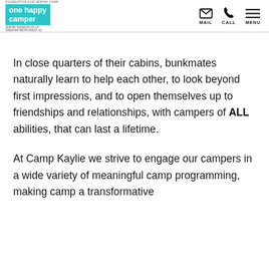one happy camper | MAIL CALL MENU
In close quarters of their cabins, bunkmates naturally learn to help each other, to look beyond first impressions, and to open themselves up to friendships and relationships, with campers of ALL abilities, that can last a lifetime.
At Camp Kaylie we strive to engage our campers in a wide variety of meaningful camp programming, making camp a transformative